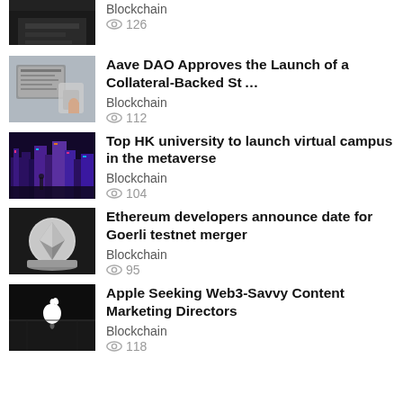Blockchain | 126 views
Aave DAO Approves the Launch of a Collateral-Backed St... | Blockchain | 112 views
Top HK university to launch virtual campus in the metaverse | Blockchain | 104 views
Ethereum developers announce date for Goerli testnet merger | Blockchain | 95 views
Apple Seeking Web3-Savvy Content Marketing Directors | Blockchain | 118 views